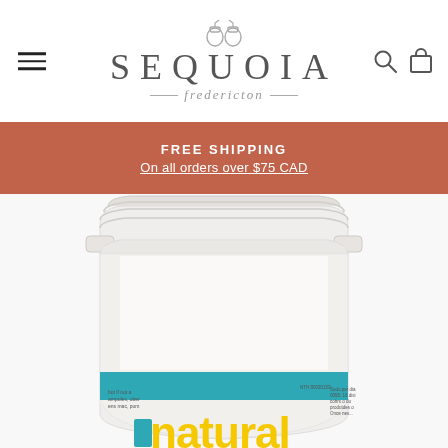[Figure (logo): Sequoia Fredericton logo with acorn icon, hamburger menu icon, search icon, and cart icon]
FREE SHIPPING
On all orders over $75 CAD
[Figure (photo): Close-up photo of a white plastic supplement bottle with teal stripe and yellow 'natural' brand text visible at the bottom]